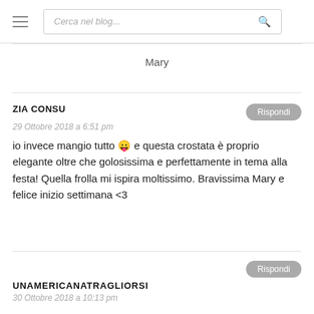Cerca nel blog...
Mary
ZIA CONSU
29 Ottobre 2018 a 6:51 pm
io invece mangio tutto 😛 e questa crostata è proprio elegante oltre che golosissima e perfettamente in tema alla festa! Quella frolla mi ispira moltissimo. Bravissima Mary e felice inizio settimana <3
UNAMERICANATRAGLIORSI
30 Ottobre 2018 a 10:13 pm